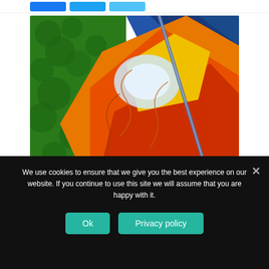[Figure (other): Social share buttons: Facebook (blue), Twitter (light blue), Email (light blue)]
[Figure (photo): Aerial/satellite image showing vivid colors: green forest on left, orange/yellow mineral deposits in center, blue water or mineral areas on right, with a diagonal line (road or pipeline) cutting through]
This year's challenges have made it difficult for ...
We use cookies to ensure that we give you the best experience on our website. If you continue to use this site we will assume that you are happy with it.
Ok  Privacy policy